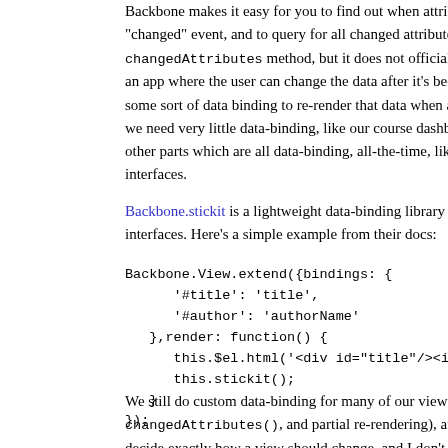Backbone makes it easy for you to find out when attributes on your "changed" event, and to query for all changed attributes since the changedAttributes method, but it does not officially offer any da an app where the user can change the data after it's been rendered, some sort of data binding to re-render that data when appropriate. W we need very little data-binding, like our course dashboard and cour other parts which are all data-binding, all-the-time, like our discussio interfaces.
Backbone.stickit is a lightweight data-binding library that we've starte interfaces. Here's a simple example from their docs:
Backbone.View.extend({bindings: {
    '#title': 'title',
    '#author': 'authorName'
  },render: function() {
    this.$el.html('<div id="title"/><input id="aut
    this.stickit();
  }
});
We still do custom data-binding for many of our views (using the "ch changedAttributes(), and partial re-rendering), and I like that b decide exactly how a view should change, and I don't have to fight a